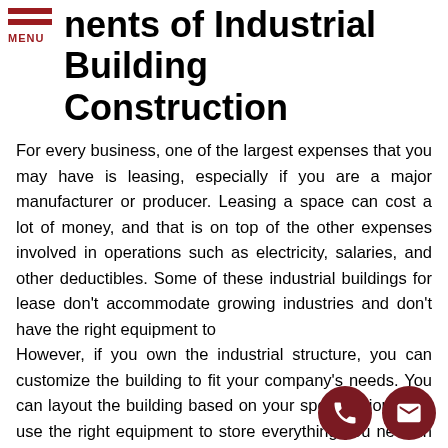nents of Industrial Building Construction
For every business, one of the largest expenses that you may have is leasing, especially if you are a major manufacturer or producer. Leasing a space can cost a lot of money, and that is on top of the other expenses involved in operations such as electricity, salaries, and other deductibles. Some of these industrial buildings for lease don't accommodate growing industries and don't have the right equipment to
However, if you own the industrial structure, you can customize the building to fit your company's needs. You can layout the building based on your specifications and use the right equipment to store everything you need in one place. It will also save you a lot of money because you don't have to pay rental fees for the space and worry about additional costs that you may incur for modifying the space.